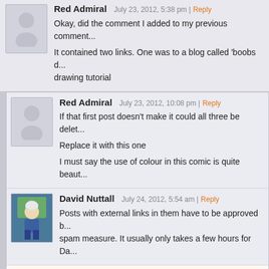Red Admiral — July 23, 2012, 5:38 pm | Reply
Okay, did the comment I added to my previous comment...
It contained two links. One was to a blog called 'boobs d... drawing tutorial
Red Admiral — July 23, 2012, 10:08 pm | Reply
If that first post doesn't make it could all three be delet...
Replace it with this one
I must say the use of colour in this comic is quite beaut...
David Nuttall — July 24, 2012, 5:54 am | Reply
Posts with external links in them have to be approved b... spam measure. It usually only takes a few hours for Da...
DaveB — July 24, 2012, 9:16 am | Reply
Those have been linked before. Don't worry about it, lo... internet.
Melixera — July 23, 2012, 12:57 pm | # | Reply
Congratulations on your first hundred!
Is it strange I find what Xuriel really looks like is much more a... me wrong, the disguise is a piece of art (pun intended) and a...